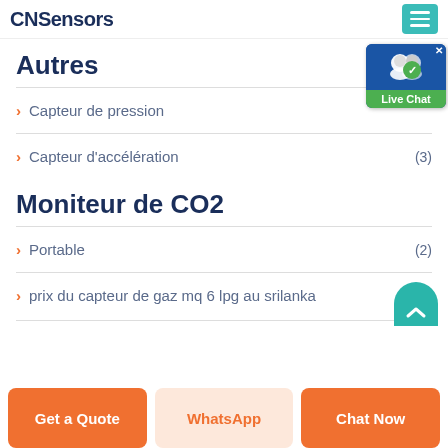CNSensors
Autres
Capteur de pression
Capteur d&#39;accélération (3)
Moniteur de CO2
Portable (2)
prix du capteur de gaz mq 6 lpg au srilanka
Get a Quote | WhatsApp | Chat Now